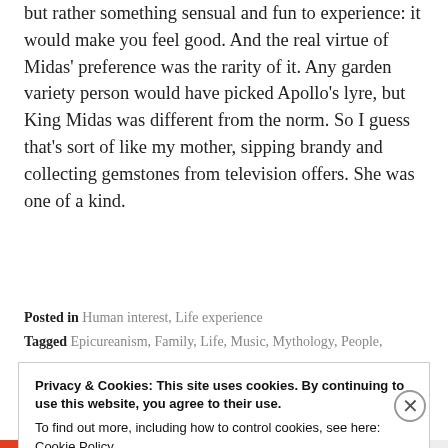but rather something sensual and fun to experience: it would make you feel good. And the real virtue of Midas' preference was the rarity of it. Any garden variety person would have picked Apollo's lyre, but King Midas was different from the norm. So I guess that's sort of like my mother, sipping brandy and collecting gemstones from television offers. She was one of a kind.
Posted in Human interest, Life experience
Tagged Epicureanism, Family, Life, Music, Mythology, People,
Privacy & Cookies: This site uses cookies. By continuing to use this website, you agree to their use.
To find out more, including how to control cookies, see here: Cookie Policy
Close and accept